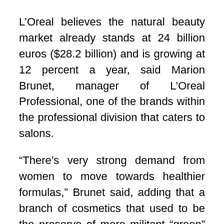L'Oreal believes the natural beauty market already stands at 24 billion euros ($28.2 billion) and is growing at 12 percent a year, said Marion Brunet, manager of L'Oreal Professional, one of the brands within the professional division that caters to salons.
“There’s very strong demand from women to move towards healthier formulas,” Brunet said, adding that a branch of cosmetics that used to be the preserve of more militant “green” consumers 15 to 20 years ago had spread across society.
The vegan range, called Botanea, is sourced from three plants found in India and is not available for mass market consumption yet, as the different shades needed to be blended to...